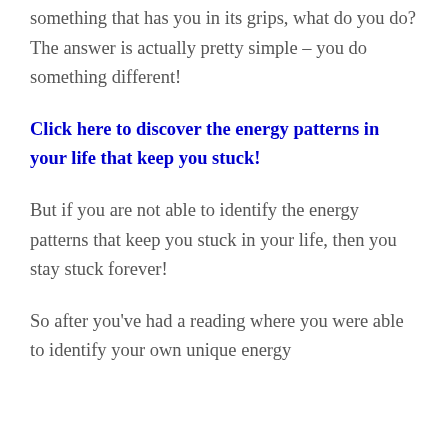something that has you in its grips, what do you do? The answer is actually pretty simple – you do something different!
Click here to discover the energy patterns in your life that keep you stuck!
But if you are not able to identify the energy patterns that keep you stuck in your life, then you stay stuck forever!
So after you've had a reading where you were able to identify your own unique energy